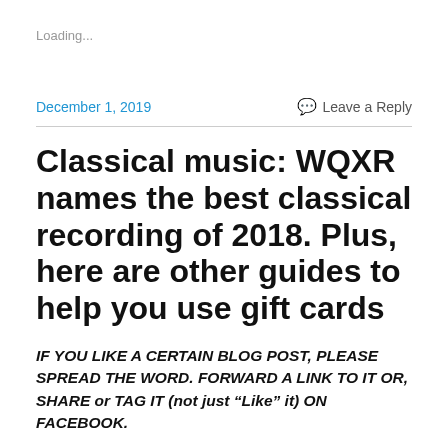Loading...
December 1, 2019
Leave a Reply
Classical music: WQXR names the best classical recording of 2018. Plus, here are other guides to help you use gift cards
IF YOU LIKE A CERTAIN BLOG POST, PLEASE SPREAD THE WORD. FORWARD A LINK TO IT OR, SHARE or TAG IT (not just “Like” it) ON FACEBOOK.